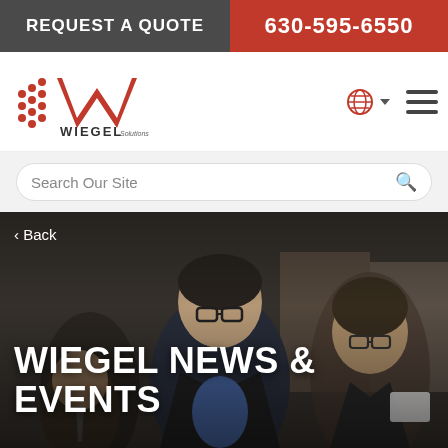REQUEST A QUOTE | 630-595-6550
[Figure (logo): Wiegel Solutions Manufacturer logo with red W and speed lines]
Search Our Site
< Back
[Figure (photo): People at an event/meeting, man in center speaking, others around him in a conference setting]
WIEGEL NEWS & EVENTS